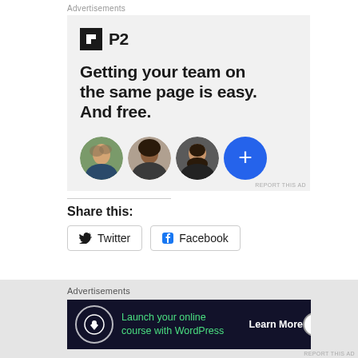Advertisements
[Figure (illustration): P2 advertisement box with logo, headline text 'Getting your team on the same page is easy. And free.' and three circular avatar photos plus a blue circle with plus sign]
REPORT THIS AD
Share this:
[Figure (other): Twitter social share button with bird icon and text 'Twitter']
[Figure (other): Facebook social share button with f icon and text 'Facebook']
Advertisements
[Figure (illustration): Dark navy advertisement banner: 'Launch your online course with WordPress' with Learn More button and circular tree icon, close X button on right]